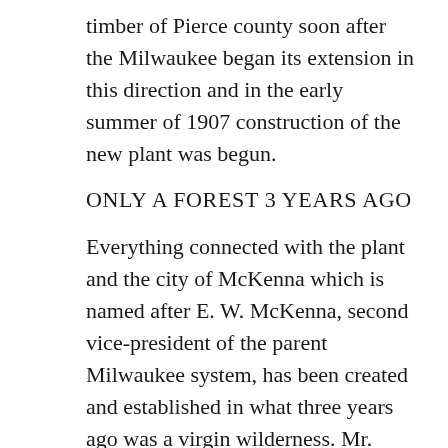timber of Pierce county soon after the Milwaukee began its extension in this direction and in the early summer of 1907 construction of the new plant was begun.
ONLY A FOREST 3 YEARS AGO
Everything connected with the plant and the city of McKenna which is named after E. W. McKenna, second vice-president of the parent Milwaukee system, has been created and established in what three years ago was a virgin wilderness. Mr. Salsich and associates purchased 26,000 acres of prime fir and cedar on the Nisqually river, about 30 miles south of Tacoma and laid out a townsite. The Tacoma